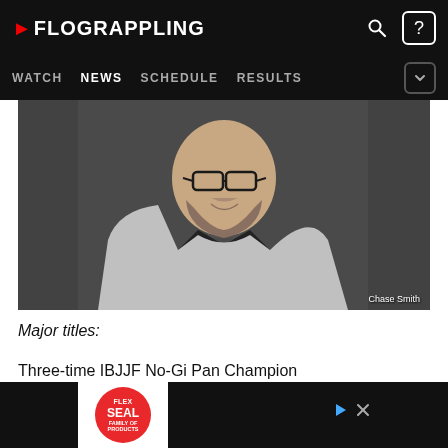FLOGRAPPLING — WATCH | NEWS | SCHEDULE | RESULTS
[Figure (photo): Bald man with glasses, beard, and neck tattoos wearing a grey hoodie over a black shirt, smiling against a dark curtain background. Photo credit: Chase Smith]
Major titles:
Three-time IBJJF No-Gi Pan Champion
[Figure (photo): Flex Seal Family of Products advertisement banner at bottom of page]